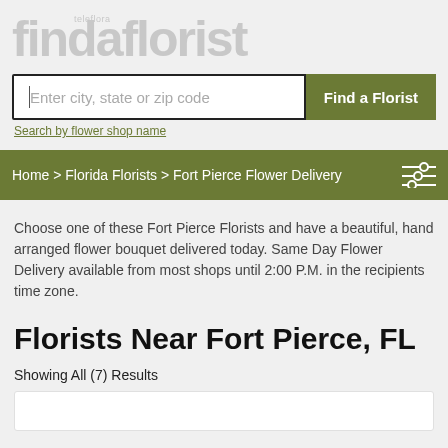[Figure (logo): Teleflora Find a Florist logo in white text on grey background]
[Figure (screenshot): Search bar with text input 'Enter city, state or zip code' and 'Find a Florist' green button]
Search by flower shop name
Home > Florida Florists > Fort Pierce Flower Delivery
Choose one of these Fort Pierce Florists and have a beautiful, hand arranged flower bouquet delivered today. Same Day Flower Delivery available from most shops until 2:00 P.M. in the recipients time zone.
Florists Near Fort Pierce, FL
Showing All (7) Results